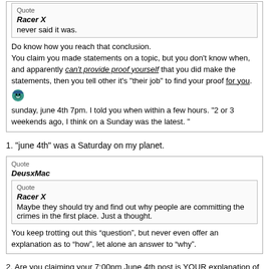Quote
Racer X
never said it was.
Do know how you reach that conclusion.
You claim you made statements on a topic, but you don't know when, and apparently can't provide proof yourself that you did make the statements, then you tell other it's "their job" to find your proof for you.
sunday, june 4th 7pm. I told you when within a few hours. "2 or 3 weekends ago, I think on a Sunday was the latest. "
1. "june 4th" was a Saturday on my planet.
Quote
DeusxMac
Quote
Racer X
Maybe they should try and find out why people are committing the crimes in the first place. Just a thought.
You keep trotting out this “question”, but never even offer an explanation as to “how”, let alone an answer to “why”.
2. Are you claiming your 7:00pm June 4th post is YOUR explanation of "why people are committing the crimes in the first place"?
If you are, please point out below WHERE you think you've done so.
(NOTE: just saying you have doesn't count as actually having done